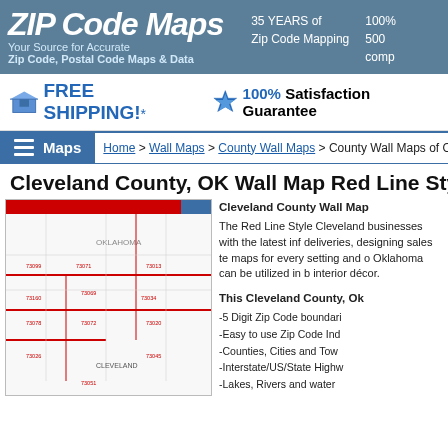ZIP Code Maps — Your Source for Accurate Zip Code, Postal Code Maps & Data | 35 YEARS of Zip Code Mapping | 100% 500 comp
FREE SHIPPING!* 100% Satisfaction Guarantee
Maps | Home > Wall Maps > County Wall Maps > County Wall Maps of O
Cleveland County, OK Wall Map Red Line Style
[Figure (map): Red Line Style Cleveland County Oklahoma wall map showing zip code boundaries, cities, towns, highways, lakes and rivers]
Cleveland County Wall Map
The Red Line Style Cleveland businesses with the latest info deliveries, designing sales te maps for every setting and oc Oklahoma can be utilized in b interior décor.

This Cleveland County, Ok
-5 Digit Zip Code boundari
-Easy to use Zip Code Ind
-Counties, Cities and Town
-Interstate/US/State Highw
-Lakes, Rivers and water